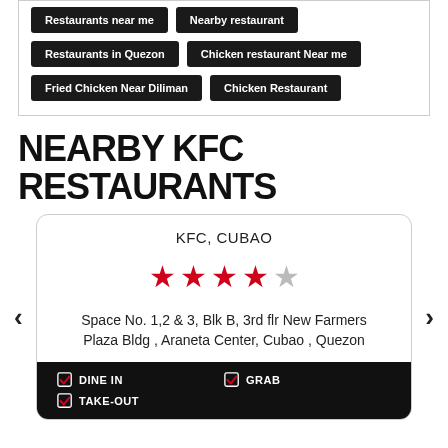Restaurants near me
Nearby restaurant
Restaurants in Quezon
Chicken restaurant Near me
Fried Chicken Near Diliman
Chicken Restaurant
NEARBY KFC RESTAURANTS
KFC, CUBAO
[Figure (infographic): 4 out of 5 red stars rating]
Space No. 1,2 & 3, Blk B, 3rd flr New Farmers Plaza Bldg , Araneta Center, Cubao , Quezon
DINE IN  GRAB  TAKE-OUT